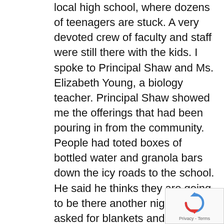local high school, where dozens of teenagers are stuck. A very devoted crew of faculty and staff were still there with the kids. I spoke to Principal Shaw and Ms. Elizabeth Young, a biology teacher. Principal Shaw showed me the offerings that had been pouring in from the community. People had toted boxes of bottled water and granola bars down the icy roads to the school. He said he thinks they are going to be there another night, and he asked for blankets and any mats or pads so the kids and staff do not have to sleep directly on the cafeteria floor.

Publix opened up and let people sleep on the floor. Home Depots all over the city stayed open all night so that stranded motorists could get indoors
[Figure (other): reCAPTCHA logo and Privacy - Terms text in bottom right corner]